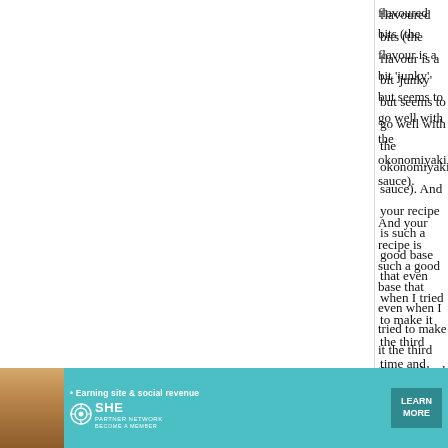flavoured bits (the flavour is a bit 'junky' but seems to go well with the okonomiyaki sauce). And your recipe is such a good base that even when I tried to make it the third time and had run out of nagaimo, substituting grated boiled potato (and a
[Figure (infographic): Advertisement banner for SHE Media Partner Network. Teal background with woman photo on left, tagline 'Earning site & social revenue', SHE logo, PARTNER NETWORK text, BECOME A MEMBER text, and LEARN MORE button.]